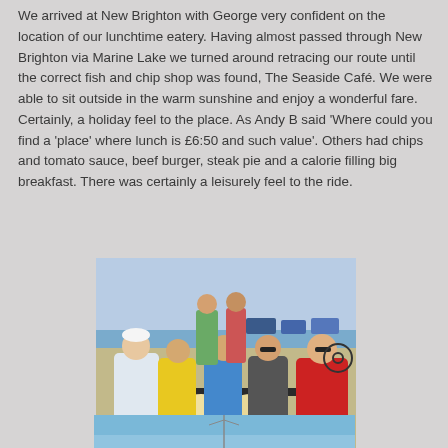We arrived at New Brighton with George very confident on the location of our lunchtime eatery. Having almost passed through New Brighton via Marine Lake we turned around retracing our route until the correct fish and chip shop was found, The Seaside Café. We were able to sit outside in the warm sunshine and enjoy a wonderful fare. Certainly, a holiday feel to the place. As Andy B said 'Where could you find a 'place' where lunch is £6:50 and such value'. Others had chips and tomato sauce, beef burger, steak pie and a calorie filling big breakfast. There was certainly a leisurely feel to the ride.
[Figure (photo): Group of cyclists sitting outside at a table eating lunch at The Seaside Café in New Brighton. Several men in cycling jerseys are seated around a dark table with food and drinks. The background shows a seafront car park and blue sky.]
[Figure (photo): Partial view of another photo, appears to show a coastal or sky scene, cropped at the bottom of the page.]